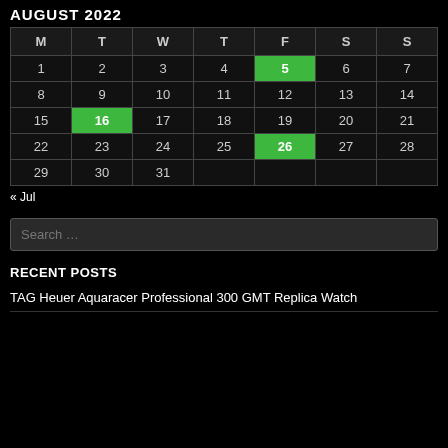AUGUST 2022
| M | T | W | T | F | S | S |
| --- | --- | --- | --- | --- | --- | --- |
| 1 | 2 | 3 | 4 | 5 | 6 | 7 |
| 8 | 9 | 10 | 11 | 12 | 13 | 14 |
| 15 | 16 | 17 | 18 | 19 | 20 | 21 |
| 22 | 23 | 24 | 25 | 26 | 27 | 28 |
| 29 | 30 | 31 |  |  |  |  |
« Jul
Search …
RECENT POSTS
TAG Heuer Aquaracer Professional 300 GMT Replica Watch